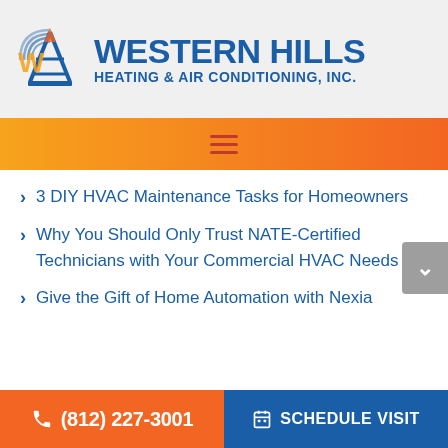[Figure (logo): Western Hills Heating & Air Conditioning, Inc. logo with stylized tower/antenna icon in blue, orange, and yellow, and company name in bold blue text]
[Figure (infographic): Orange to red gradient navigation bar with a hamburger menu icon (three horizontal lines) in dark red/brown]
3 DIY HVAC Maintenance Tasks for Homeowners
Why You Should Only Trust NATE-Certified Technicians with Your Commercial HVAC Needs
Give the Gift of Home Automation with Nexia
(812) 227-3001   SCHEDULE VISIT